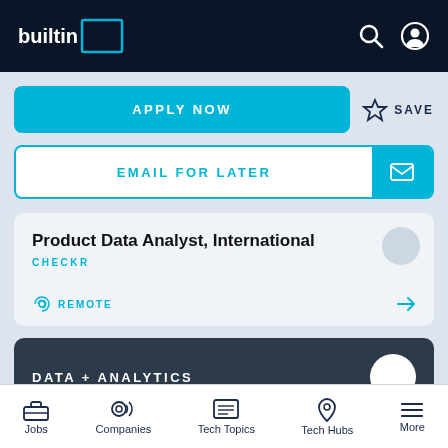builtin
APPLY NOW
SAVE
EMAIL FOR LATER
Product Data Analyst, International
CHECKR
REMOTE
DATA + ANALYTICS
Jobs  Companies  Tech Topics  Tech Hubs  More